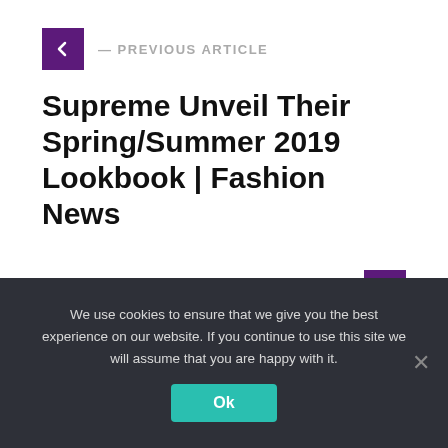— PREVIOUS ARTICLE
Supreme Unveil Their Spring/Summer 2019 Lookbook | Fashion News
NEXT ARTICLE —
Dido - Give You Up | Music Video
We use cookies to ensure that we give you the best experience on our website. If you continue to use this site we will assume that you are happy with it.